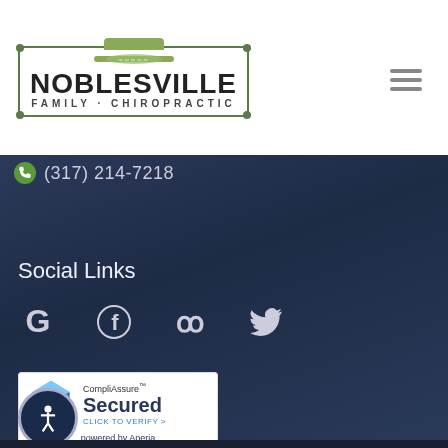[Figure (logo): Noblesville Family Chiropractic logo with decorative border and spine/leaf illustration]
(317) 214-7218
Social Links
[Figure (infographic): Social media icons: Google, Facebook, Yelp, Twitter]
[Figure (infographic): CompliAssure Secured badge - Click to verify - powered by Aperia]
[Figure (illustration): Accessibility button with person/wheelchair icon]